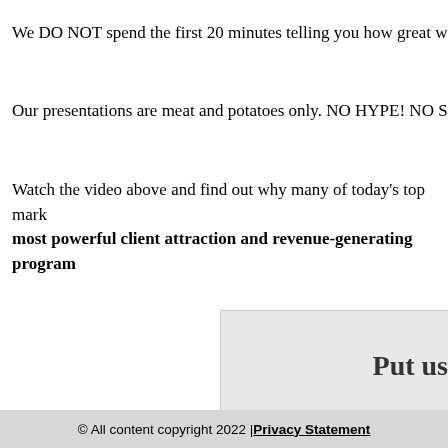We DO NOT spend the first 20 minutes telling you how great we are o
Our presentations are meat and potatoes only. NO HYPE! NO SELLI
Watch the video above and find out why many of today's top mark most powerful client attraction and revenue-generating program
Put us
If you're serious about building a s now is the time to finally seek out th difference in your revenue and prof first hand exactly how we help thou generate more leads, attract more c ever made before.
Watch O
© All content copyright 2022 | Privacy Statement